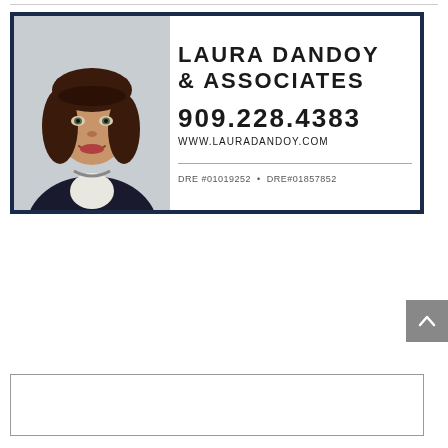[Figure (advertisement): Real estate advertisement for Laura Dandoy & Associates showing a professional photo of a woman with dark hair on the left, and text on the right with name, phone number 909.228.4383, website www.LAURADANDOY.com, and DRE license numbers #01019252 and #01857852]